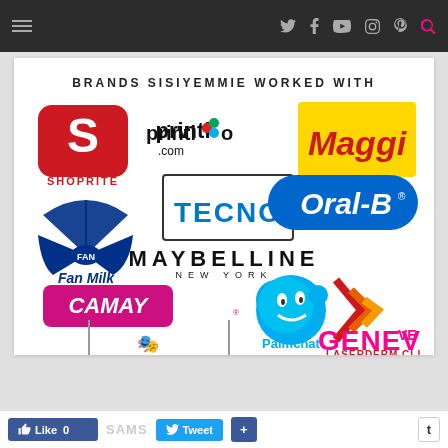Navigation bar with hamburger menu and social icons (Twitter, Facebook, YouTube, Instagram, Pinterest, Search)
BRANDS SISIYEMMIE WORKED WITH
[Figure (logo): Brand logos collage including Shoprite, Printivo.com, Maggi, Tecno, Oral-B, Fan Milk, Maybelline New York, Camay, Palmchat, Laserderm Clinics, Genevieve magazine, and others]
Like 0  Tweet  +  t